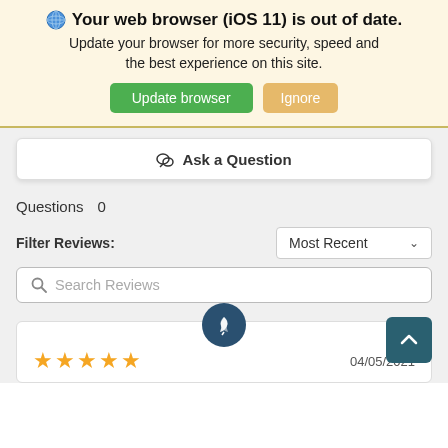🌐 Your web browser (iOS 11) is out of date. Update your browser for more security, speed and the best experience on this site.
Update browser | Ignore
💬 Ask a Question
Questions 0
Filter Reviews: Most Recent ∨
🔍 Search Reviews
[Figure (screenshot): Review card with 5 yellow stars, a blue circular badge with a feather/pen icon, and date 04/05/2021. A teal scroll-to-top button is at the bottom right.]